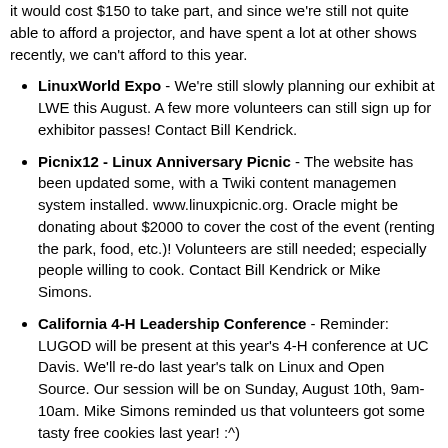it would cost $150 to take part, and since we're still not quite able to afford a projector, and have spent a lot at other shows recently, we can't afford to this year.
LinuxWorld Expo - We're still slowly planning our exhibit at LWE this August. A few more volunteers can still sign up for exhibitor passes! Contact Bill Kendrick.
Picnix12 - Linux Anniversary Picnic - The website has been updated some, with a Twiki content managemen system installed. www.linuxpicnic.org. Oracle might be donating about $2000 to cover the cost of the event (renting the park, food, etc.)! Volunteers are still needed; especially people willing to cook. Contact Bill Kendrick or Mike Simons.
California 4-H Leadership Conference - Reminder: LUGOD will be present at this year's 4-H conference at UC Davis. We'll re-do last year's talk on Linux and Open Source. Our session will be on Sunday, August 10th, 9am-10am. Mike Simons reminded us that volunteers got some tasty free cookies last year! :^)